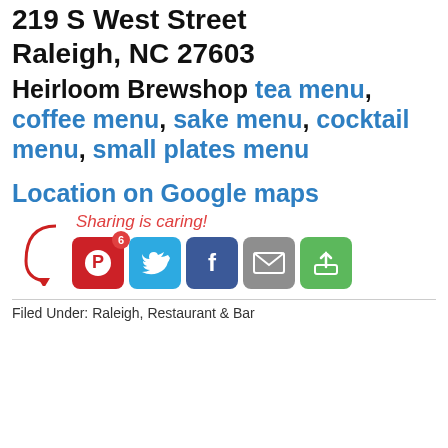219 S West Street
Raleigh, NC 27603
Heirloom Brewshop tea menu, coffee menu, sake menu, cocktail menu, small plates menu
Location on Google maps
[Figure (infographic): Sharing is caring! social share buttons: Pinterest (badge 6), Twitter, Facebook, Email, More]
Filed Under: Raleigh, Restaurant & Bar